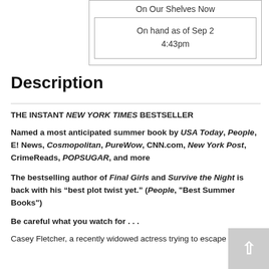| On Our Shelves Now |
| On hand as of Sep 2
4:43pm |
Description
THE INSTANT NEW YORK TIMES BESTSELLER
Named a most anticipated summer book by USA Today, People, E! News, Cosmopolitan, PureWow, CNN.com, New York Post, CrimeReads, POPSUGAR, and more
The bestselling author of Final Girls and Survive the Night is back with his “best plot twist yet.” (People, "Best Summer Books")
Be careful what you watch for . . .
Casey Fletcher, a recently widowed actress trying to escape a